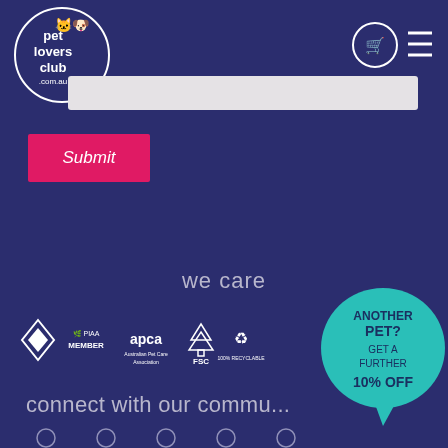[Figure (logo): Pet Lovers Club logo in white circle on dark blue background with shopping cart icon and hamburger menu]
[Figure (other): Search input bar (light grey/beige rectangle)]
[Figure (other): Red Submit button]
we care
[Figure (other): Certification logos row: diamond logo, PIAA MEMBER, apca (Australian Pet Care Association), FSC, 100% RECYCLABLE]
[Figure (other): Teal speech bubble: ANOTHER PET? GET A FURTHER 10% OFF]
connect with our commu...
[Figure (other): Social media icons row at bottom (partially visible)]